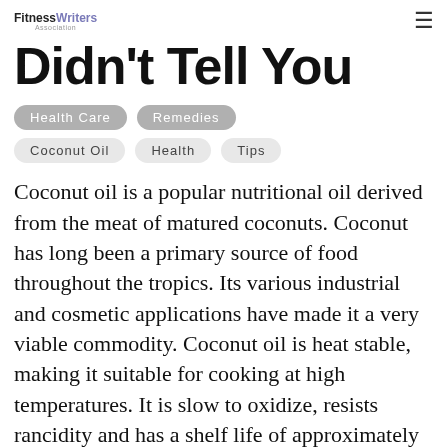FitnessWriters Association
Didn't Tell You
Health Care
Remedies
Coconut Oil
Health
Tips
Coconut oil is a popular nutritional oil derived from the meat of matured coconuts. Coconut has long been a primary source of food throughout the tropics. Its various industrial and cosmetic applications have made it a very viable commodity. Coconut oil is heat stable, making it suitable for cooking at high temperatures. It is slow to oxidize, resists rancidity and has a shelf life of approximately two years or more.